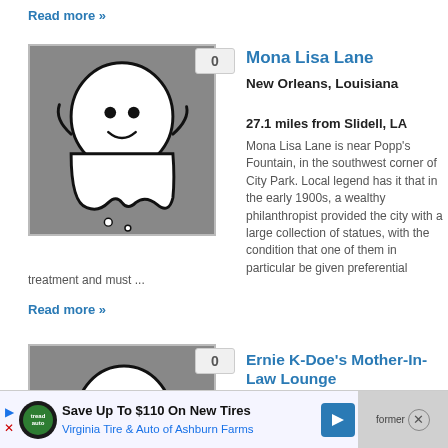Read more »
[Figure (illustration): Ghost cartoon illustration on gray background with badge showing 0]
Mona Lisa Lane
New Orleans, Louisiana
27.1 miles from Slidell, LA
Mona Lisa Lane is near Popp's Fountain, in the southwest corner of City Park. Local legend has it that in the early 1900s, a wealthy philanthropist provided the city with a large collection of statues, with the condition that one of them in particular be given preferential treatment and must ...
Read more »
[Figure (illustration): Ghost cartoon illustration on gray background with badge showing 0]
Ernie K-Doe's Mother-In-Law Lounge
New Orleans, Louisiana
27.1 miles from Slidell, LA